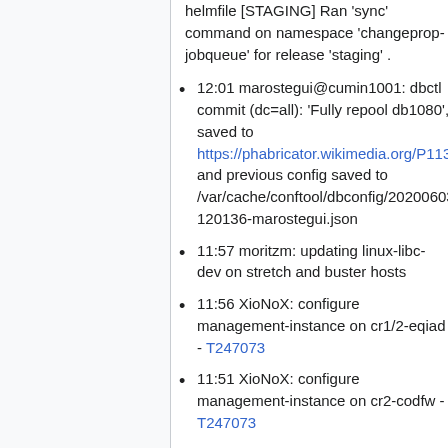helmfile [STAGING] Ran 'sync' command on namespace 'changeprop-jobqueue' for release 'staging' .
12:01 marostegui@cumin1001: dbctl commit (dc=all): 'Fully repool db1080', diff saved to https://phabricator.wikimedia.org/P11385 and previous config saved to /var/cache/conftool/dbconfig/20200603-120136-marostegui.json
11:57 moritzm: updating linux-libc-dev on stretch and buster hosts
11:56 XioNoX: configure management-instance on cr1/2-eqiad - T247073
11:51 XioNoX: configure management-instance on cr2-codfw - T247073
11:44 marostegui@cumin1001: dbctl